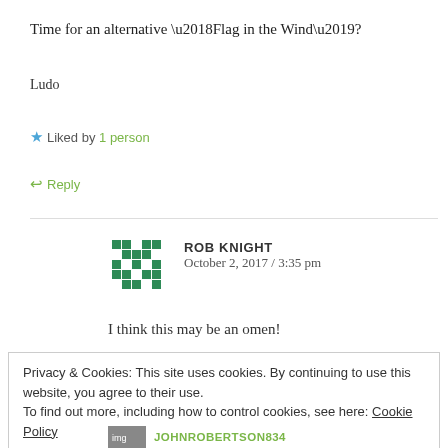Time for an alternative ‘Flag in the Wind’?
Ludo
★ Liked by 1 person
↩ Reply
ROB KNIGHT
October 2, 2017 / 3:35 pm
I think this may be an omen!
Privacy & Cookies: This site uses cookies. By continuing to use this website, you agree to their use.
To find out more, including how to control cookies, see here: Cookie Policy
Close and accept
JOHNROBERTSON834